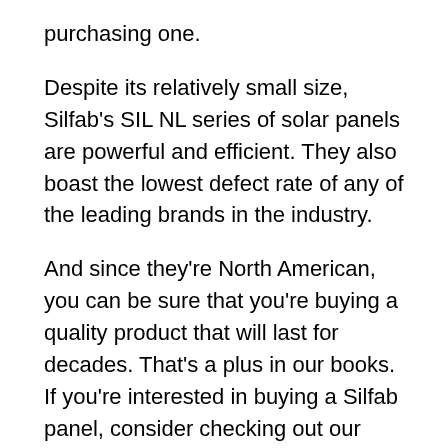purchasing one.
Despite its relatively small size, Silfab's SIL NL series of solar panels are powerful and efficient. They also boast the lowest defect rate of any of the leading brands in the industry.
And since they're North American, you can be sure that you're buying a quality product that will last for decades. That's a plus in our books. If you're interested in buying a Silfab panel, consider checking out our review.
The Silfab SIL-320 NL solar panel has a temperature coefficient of -0.36% per degree Celsius. As a result, when the temperature rises, the amount of